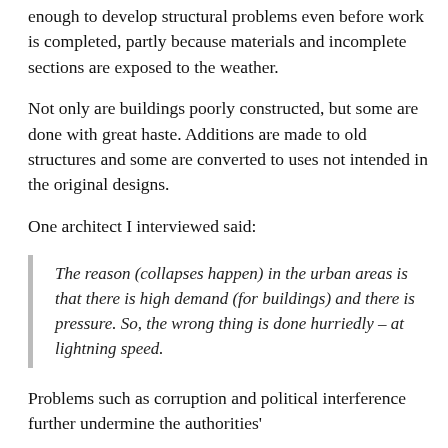enough to develop structural problems even before work is completed, partly because materials and incomplete sections are exposed to the weather.
Not only are buildings poorly constructed, but some are done with great haste. Additions are made to old structures and some are converted to uses not intended in the original designs.
One architect I interviewed said:
The reason (collapses happen) in the urban areas is that there is high demand (for buildings) and there is pressure. So, the wrong thing is done hurriedly – at lightning speed.
Problems such as corruption and political interference further undermine the authorities'